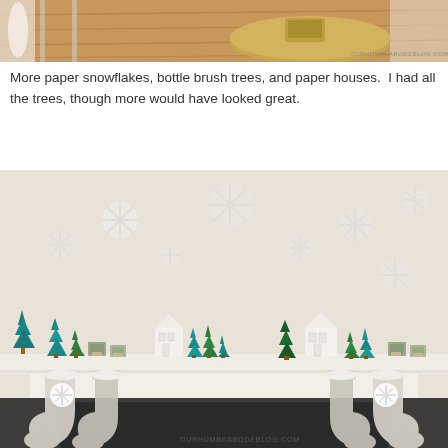[Figure (photo): Partial top photo showing a wooden coffee table with glass legs, a gold accent piece on the table, and text watermark 'ourhumbkabodeblog.com' visible in the bottom right.]
More paper snowflakes, bottle brush trees, and paper houses.  I had all the trees, though more would have looked great.
[Figure (photo): A fireplace mantel decorated for Christmas with paper snowflakes on the wall behind, a row of bottle brush trees in various green shades, small white paper house decorations, silver and white Christmas stockings hanging from the mantel, and small potted plants. Watermark 'ourhumbkabodeblog.com' in bottom right corner.]